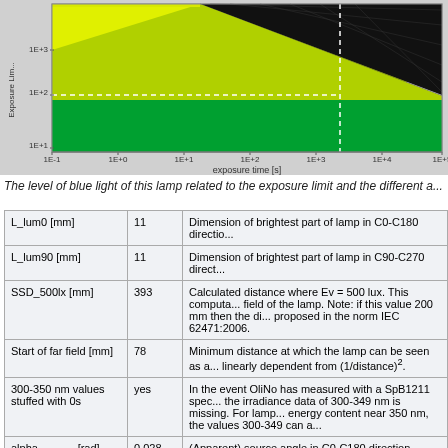[Figure (continuous-plot): Chart showing exposure limits vs exposure time [s]. Areas colored yellow-green (safe) and black (hazardous) with white dashed horizontal and vertical reference lines. Y-axis: Exposure Limit (log scale, 1E+1 to 1E+3+). X-axis: exposure time [s] from 1E-1 to 1E+5.]
The level of blue light of this lamp related to the exposure limit and the different a...
| L_lum0 [mm] | 11 | Dimension of brightest part of lamp in C0-C180 directio... |
| L_lum90 [mm] | 11 | Dimension of brightest part of lamp in C90-C270 direct... |
| SSD_500lx [mm] | 393 | Calculated distance where Ev = 500 lux. This computa... field of the lamp. Note: if this value 200 mm then the di... proposed in the norm IEC 62471:2006. |
| Start of far field [mm] | 78 | Minimum distance at which the lamp can be seen as a... linearly dependent from (1/distance)². |
| 300-350 nm values stuffed with 0s | yes | In the event OliNo has measured with a SpB1211 spec... the irradiance data of 300-349 nm is missing. For lamp... energy content near 350 nm, the values 300-349 can a... |
| alpha_C0-C180 [rad] | 0.028 | (Apparent) source angle in C0-C180 direction. |